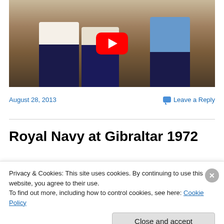[Figure (screenshot): YouTube video thumbnail showing three men standing on a beach. A red YouTube play button overlay is visible in the center. The men are dressed casually, two in dark shorts and one in a blue shirt.]
August 28, 2013
Leave a Reply
Royal Navy at Gibraltar 1972
Privacy & Cookies: This site uses cookies. By continuing to use this website, you agree to their use.
To find out more, including how to control cookies, see here: Cookie Policy
Close and accept